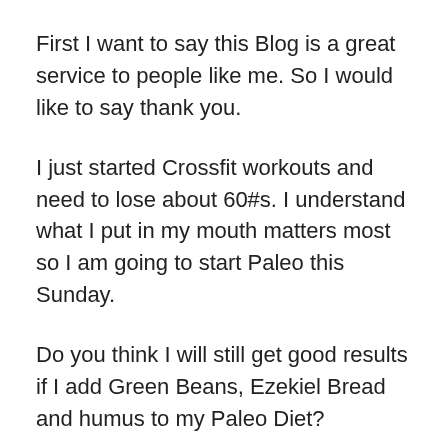First I want to say this Blog is a great service to people like me. So I would like to say thank you.
I just started Crossfit workouts and need to lose about 60#s. I understand what I put in my mouth matters most so I am going to start Paleo this Sunday.
Do you think I will still get good results if I add Green Beans, Ezekiel Bread and humus to my Paleo Diet?
Also what can I add to tuna fish to make tuna fish salad?
Again thank you...